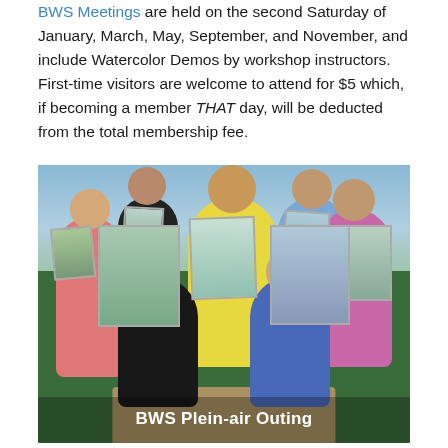BWS Meetings are held on the second Saturday of January, March, May, September, and November, and include Watercolor Demos by workshop instructors. First-time visitors are welcome to attend for $5 which, if becoming a member THAT day, will be deducted from the total membership fee.
[Figure (photo): Group photo of watercolor artists outdoors holding up their watercolor paintings. Caption reads 'BWS Plein-air Outing'.]